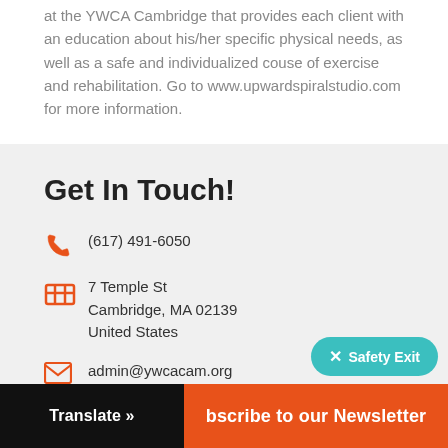at the YWCA Cambridge that provides each client with an education about his/her specific physical needs, as well as a safe and individualized couse of exercise and rehabilitation. Go to www.upwardspiralstudio.com for more information.
Get In Touch!
(617) 491-6050
7 Temple St
Cambridge, MA 02139
United States
admin@ywcacam.org
Translate »  |  Subscribe to our Newsletter  |  Safety Exit